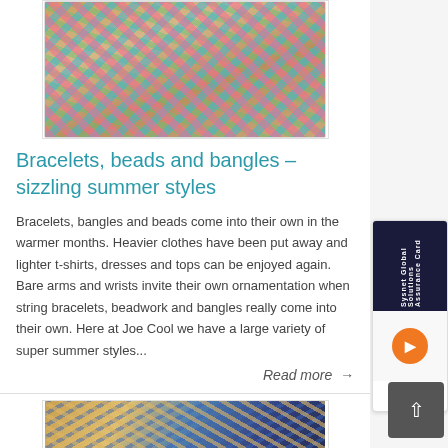[Figure (photo): Colorful braided bracelets and beaded jewelry arranged on a wooden surface]
Bracelets, beads and bangles – sizzling summer styles
Bracelets, bangles and beads come into their own in the warmer months. Heavier clothes have been put away and lighter t-shirts, dresses and tops can be enjoyed again. Bare arms and wrists invite their own ornamentation when string bracelets, beadwork and bangles really come into their own. Here at Joe Cool we have a large variety of super summer styles...
Read more →
[Figure (photo): Decorative hand fans with floral and wave patterns arranged on a wooden surface]